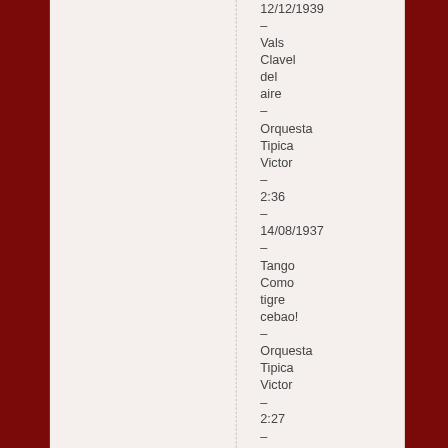12/12/1939 – Vals Clavel del aire – Orquesta Tipica Victor – 2:36 – 14/08/1937 – Tango Como tigre cebao! – Orquesta Tipica Victor – 2:27 – 18/04/1938 – Tango Déjame vivir – Orquesta Tipica Victor con Mariano Balcarce